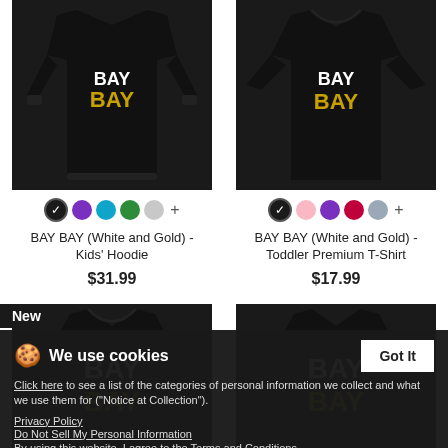[Figure (photo): Black kids' hoodie with 'BAY BAY' text in white and gold]
BAY BAY (White and Gold) - Kids' Hoodie
$31.99
[Figure (photo): Black toddler premium t-shirt with 'BAY BAY' text in white and gold]
BAY BAY (White and Gold) - Toddler Premium T-Shirt
$17.99
[Figure (photo): Black t-shirt with 'BAY BAY' text (new product), partially obscured by cookie banner]
[Figure (photo): Black t-shirt with 'BAY BAY' text in white and gold, partially obscured by cookie banner]
We use cookies
Click here to see a list of the categories of personal information we collect and what we use them for ("Notice at Collection").
Privacy Policy
Do Not Sell My Personal Information
By using this website, I agree to the Terms and Conditions